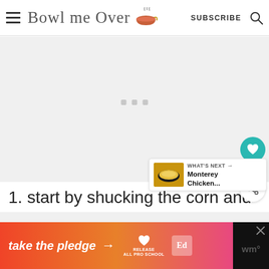Bowl me Over — SUBSCRIBE
[Figure (screenshot): Light gray content area placeholder with three small loading dots]
[Figure (infographic): Social sidebar with teal heart button showing 1.4K, and a white share button]
[Figure (infographic): What's Next panel with Monterey Chicken thumbnail and arrow label]
1. start by shucking the corn and
[Figure (infographic): Ad banner: take the pledge → RELEASE [Ed logo] with close button]